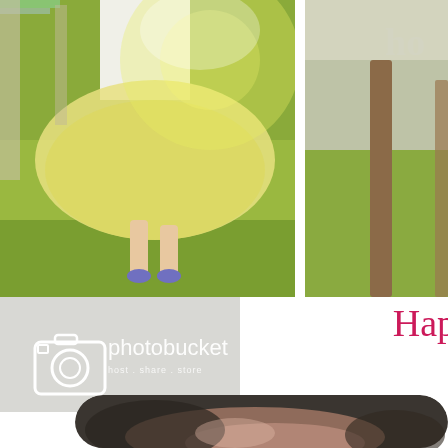[Figure (photo): Child in a yellow tutu dress spinning or running on green grass outdoors, backlit with bright sunlight creating a lens flare effect. The image is cropped and shows the lower body and dress of the child.]
[Figure (photo): Partial photo on the right side showing a blurred outdoor scene with green grass and a brown post, with partial text 'ho' visible in the upper right corner.]
[Figure (logo): Photobucket watermark/logo on a light gray background. Shows a camera icon outline and the text 'photobucket' with tagline 'host, share, store' in white.]
Hap
[Figure (photo): Partial photo at the bottom of the page showing a close-up blurred image, appears to show hands or a person, dark tones with pink/skin tones visible.]